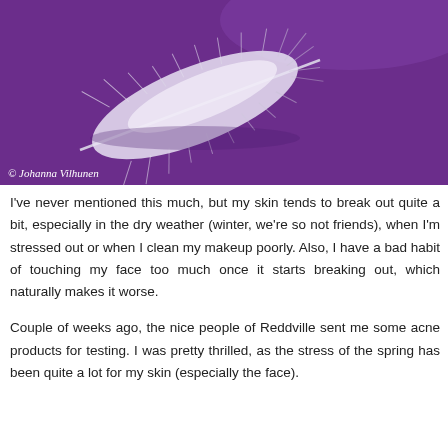[Figure (photo): A white fluffy feather resting on a purple surface, photographed from above. The feather is soft and wispy, positioned diagonally across the frame.]
© Johanna Vilhunen
I've never mentioned this much, but my skin tends to break out quite a bit, especially in the dry weather (winter, we're so not friends), when I'm stressed out or when I clean my makeup poorly. Also, I have a bad habit of touching my face too much once it starts breaking out, which naturally makes it worse.
Couple of weeks ago, the nice people of Reddville sent me some acne products for testing. I was pretty thrilled, as the stress of the spring has been quite a lot for my skin (especially the face).